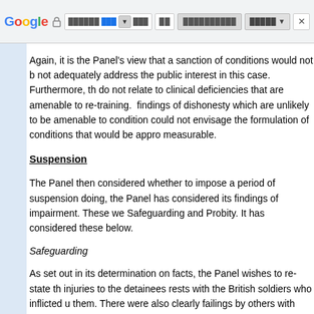Google browser toolbar screenshot
Again, it is the Panel's view that a sanction of conditions would not adequately address the public interest in this case. Furthermore, the do not relate to clinical deficiencies that are amenable to re-training. findings of dishonesty which are unlikely to be amenable to conditions could not envisage the formulation of conditions that would be appropriate and measurable.
Suspension
The Panel then considered whether to impose a period of suspension doing, the Panel has considered its findings of impairment. These were Safeguarding and Probity. It has considered these below.
Safeguarding
As set out in its determination on facts, the Panel wishes to re-state the injuries to the detainees rests with the British soldiers who inflicted them. There were also clearly failings by others with responsibility to welfare of the detainees. Nevertheless, your failure to check on the d